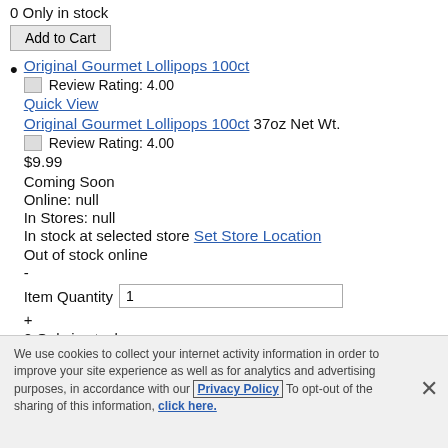0 Only in stock
Add to Cart
Original Gourmet Lollipops 100ct
Review Rating: 4.00
Quick View
Original Gourmet Lollipops 100ct 37oz Net Wt.
Review Rating: 4.00
$9.99
Coming Soon
Online: null
In Stores: null
In stock at selected store Set Store Location
Out of stock online
-
Item Quantity 1
+
0 Only in stock
Add to Cart
We use cookies to collect your internet activity information in order to improve your site experience as well as for analytics and advertising purposes, in accordance with our Privacy Policy To opt-out of the sharing of this information, click here.